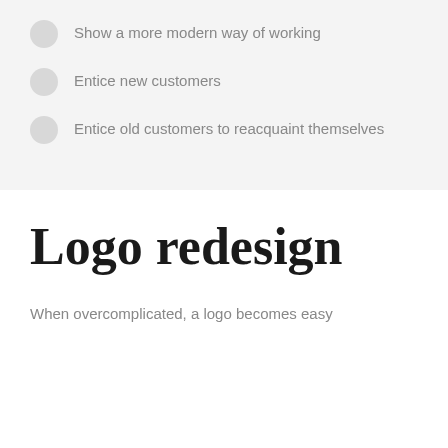Show a more modern way of working
Entice new customers
Entice old customers to reacquaint themselves
Logo redesign
When overcomplicated, a logo becomes easy